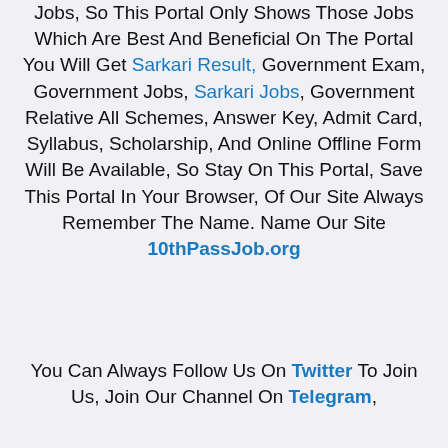Jobs, So This Portal Only Shows Those Jobs Which Are Best And Beneficial On The Portal You Will Get Sarkari Result, Government Exam, Government Jobs, Sarkari Jobs, Government Relative All Schemes, Answer Key, Admit Card, Syllabus, Scholarship, And Online Offline Form Will Be Available, So Stay On This Portal, Save This Portal In Your Browser, Of Our Site Always Remember The Name. Name Our Site 10thPassJob.org
You Can Always Follow Us On Twitter To Join Us, Join Our Channel On Telegram,